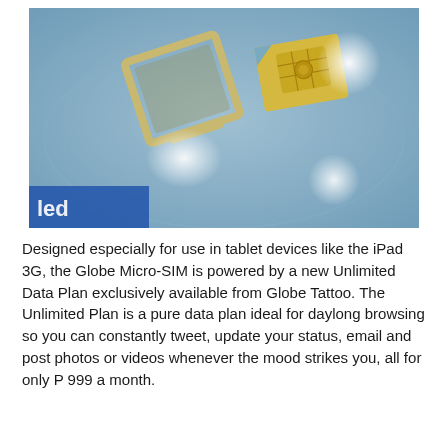[Figure (photo): Photo of a SIM card tray (metal frame) and a micro-SIM card with gold contacts, placed on a light blue surface with reflections of light. The text 'led' is partially visible on a blue label in the bottom-left corner.]
Designed especially for use in tablet devices like the iPad 3G, the Globe Micro-SIM is powered by a new Unlimited Data Plan exclusively available from Globe Tattoo. The Unlimited Plan is a pure data plan ideal for daylong browsing so you can constantly tweet, update your status, email and post photos or videos whenever the mood strikes you, all for only P 999 a month.